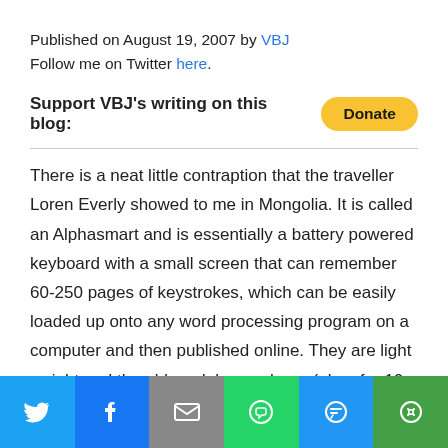Published on August 19, 2007 by VBJ
Follow me on Twitter here.
Support VBJ's writing on this blog: [Donate button]
There is a neat little contraption that the traveller Loren Everly showed to me in Mongolia. It is called an Alphasmart and is essentially a battery powered keyboard with a small screen that can remember 60-250 pages of keystrokes, which can be easily loaded up onto any word processing program on a computer and then published online. They are light weight and the old models are cheap (ebay for 10-30 dollars). This
[Figure (infographic): Social sharing bar with Twitter, Facebook, Email, WhatsApp, SMS, and More buttons]